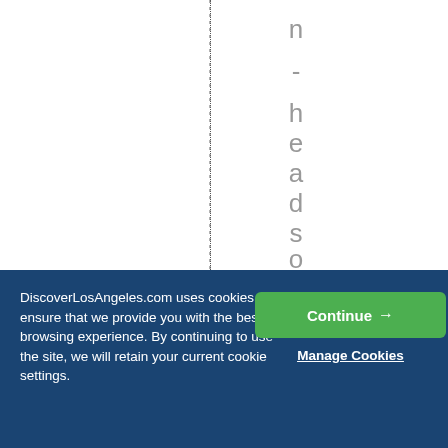[Figure (other): White background with a vertical dotted line and rotated/vertical text reading 'n-headsouthtoSan' displayed as individual stacked characters on the right half of the upper area]
DiscoverLosAngeles.com uses cookies to ensure that we provide you with the best browsing experience. By continuing to use the site, we will retain your current cookie settings.
Continue →
Manage Cookies